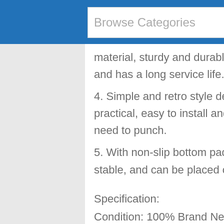Browse Categories
material, sturdy and durable, without mildew, and has a long service life.
4. Simple and retro style designed, beautiful and practical, easy to install and disassemble, no need to punch.
5. With non-slip bottom pad, it is strong and stable, and can be placed on the table smoothly.
Specification:
Condition: 100% Brand New